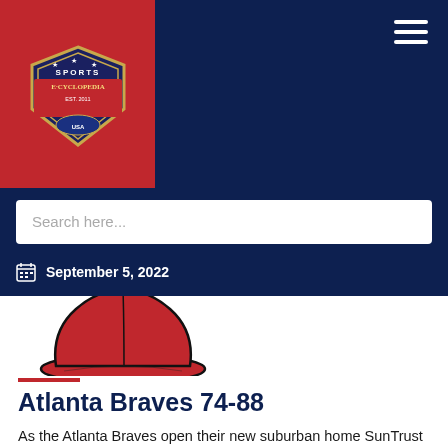[Figure (logo): Sports E-Cyclopedia logo on red background with shield emblem]
[Figure (illustration): Red baseball cap illustration, showing top portion of cap]
September 5, 2022
Atlanta Braves 74-88
As the Atlanta Braves open their new suburban home SunTrust Park, the focus remains on the future. Although the Braves are not going to roll over as they signed a number of veterans to fill in and tutor the coming generation of Braves. While, success will continue to elude Atlanta in 2017 the future is strong as they have Dansby